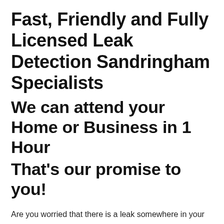Fast, Friendly and Fully Licensed Leak Detection Sandringham Specialists
We can attend your Home or Business in 1 Hour
That's our promise to you!
Are you worried that there is a leak somewhere in your pipes or sewer? Does your water bill seem higher than it should? Are you noticing signs of water damage or mold around the house? If you answered yes to any of these questions, then Leak Detection Sandringham can help. For immediate service